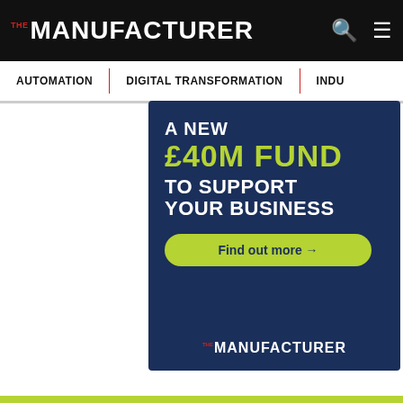THE MANUFACTURER
AUTOMATION | DIGITAL TRANSFORMATION | INDU...
[Figure (infographic): Advertisement banner on dark navy background. Text: 'A NEW £40M FUND TO SUPPORT YOUR BUSINESS' with a green 'Find out more →' button and The Manufacturer logo at the bottom.]